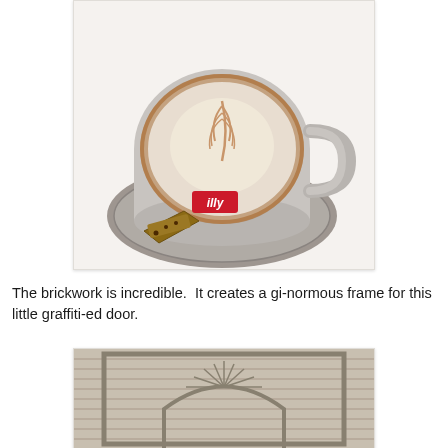[Figure (photo): A cappuccino in a grey illy-branded ceramic cup on a matching saucer, with latte art on top and a biscotti on the saucer, placed on a white surface.]
The brickwork is incredible.  It creates a gi-normous frame for this little graffiti-ed door.
[Figure (photo): A brick wall with a large rectangular frame around an arched doorway, with horizontal brickwork creating a decorative frame pattern.]